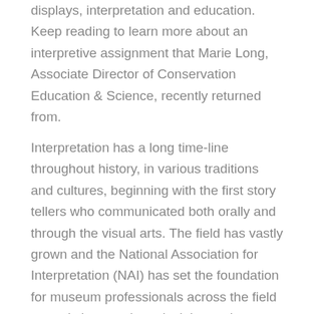displays, interpretation and education. Keep reading to learn more about an interpretive assignment that Marie Long, Associate Director of Conservation Education & Science, recently returned from.
Interpretation has a long time-line throughout history, in various traditions and cultures, beginning with the first story tellers who communicated both orally and through the visual arts. The field has vastly grown and the National Association for Interpretation (NAI) has set the foundation for museum professionals across the field to apply interpretive principles and standards to their unique sites-interpreting the arts, culture, natural resources, and history. Interpretation defined by Sam Ham, is a mission-based approach to communication aimed at provoking in audiences the